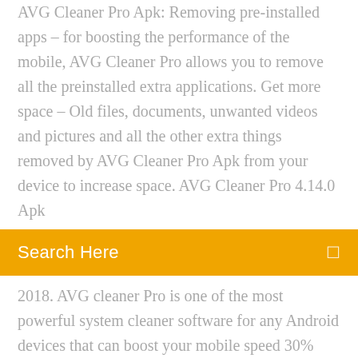AVG Cleaner Pro Apk: Removing pre-installed apps – for boosting the performance of the mobile, AVG Cleaner Pro allows you to remove all the preinstalled extra applications. Get more space – Old files, documents, unwanted videos and pictures and all the other extra things removed by AVG Cleaner Pro Apk from your device to increase space. AVG Cleaner Pro 4.14.0 Apk
Search Here
2018. AVG cleaner Pro is one of the most powerful system cleaner software for any Android devices that can boost your mobile speed 30% better. It also support auto cleaning option that can free Download AVG Cleaner & Battery Saver for Android™ phones NOW to clean precious memory and space, save battery power and help boost performance speed! Get more space – clean junk, cache files, memory, unwanted apps and bad & similar photos Get more power & boost – optimize and extend battery life Reduce data usage – remove apps that guzzle up mobile data avg cleaner pro apk: With AVG Cleaner